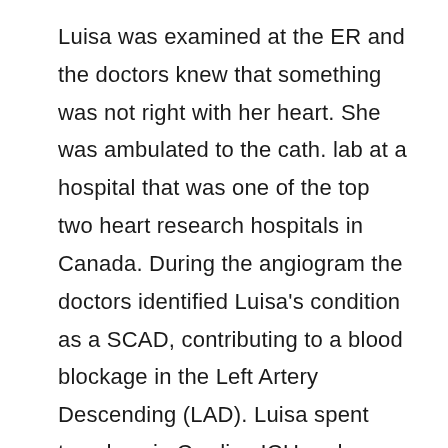Luisa was examined at the ER and the doctors knew that something was not right with her heart. She was ambulated to the cath. lab at a hospital that was one of the top two heart research hospitals in Canada. During the angiogram the doctors identified Luisa's condition as a SCAD, contributing to a blood blockage in the Left Artery Descending (LAD). Luisa spent two days in Cardiac ICU and another five days in hospital. She spent another month recuperating in Canada before she could fly home. It was the longest 13 hours in the air. Luisa has permanent damage to the apex of her heart and is